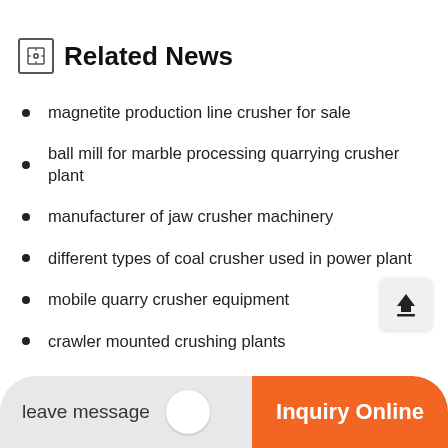Related News
magnetite production line crusher for sale
ball mill for marble processing quarrying crusher plant
manufacturer of jaw crusher machinery
different types of coal crusher used in power plant
mobile quarry crusher equipment
crawler mounted crushing plants
leave message
Inquiry Online